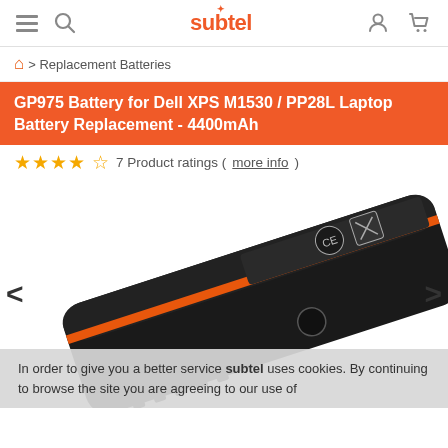subtel — navigation header with hamburger menu, search, user, and cart icons
🏠 > Replacement Batteries
GP975 Battery for Dell XPS M1530 / PP28L Laptop Battery Replacement - 4400mAh
★★★★☆ 7 Product ratings (more info)
[Figure (photo): Black rectangular laptop battery for Dell XPS M1530, shown at an angle. The battery has an orange stripe detail and regulatory labels (CE mark, recycling symbol) on a sticker on its top face.]
In order to give you a better service subtel uses cookies. By continuing to browse the site you are agreeing to our use of